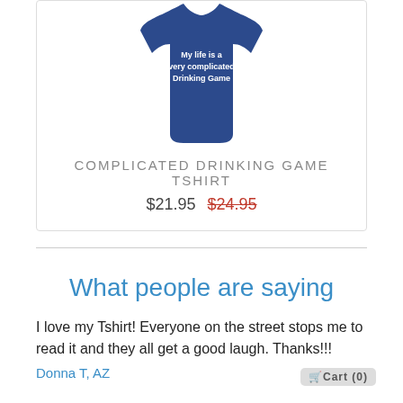[Figure (photo): Blue navy tank top/shirt with white text reading 'My life is a very complicated Drinking Game']
COMPLICATED DRINKING GAME TSHIRT
$21.95  $24.95
What people are saying
I love my Tshirt! Everyone on the street stops me to read it and they all get a good laugh. Thanks!!!
Donna T, AZ